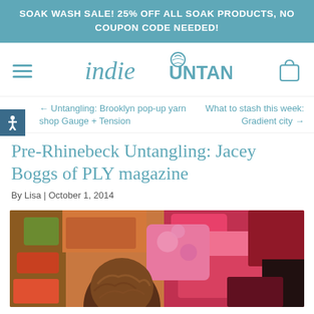SOAK WASH SALE! 25% OFF ALL SOAK PRODUCTS, NO COUPON CODE NEEDED!
[Figure (logo): Indie Untangled logo with hamburger menu icon on left and shopping bag icon on right]
← Untangling: Brooklyn pop-up yarn shop Gauge + Tension
What to stash this week: Gradient city →
Pre-Rhinebeck Untangling: Jacey Boggs of PLY magazine
By Lisa | October 1, 2014
[Figure (photo): Photo of Jacey Boggs from behind showing short brown hair, surrounded by colorful yarn skeins in reds, pinks, and multicolors]